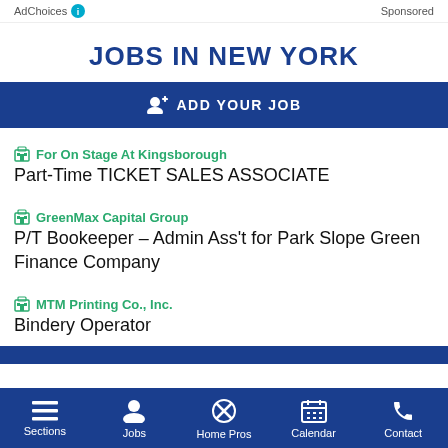AdChoices  Sponsored
JOBS IN NEW YORK
+ ADD YOUR JOB
For On Stage At Kingsborough — Part-Time TICKET SALES ASSOCIATE
GreenMax Capital Group — P/T Bookeeper – Admin Ass't for Park Slope Green Finance Company
MTM Printing Co., Inc. — Bindery Operator
Sections  Jobs  Home Pros  Calendar  Contact